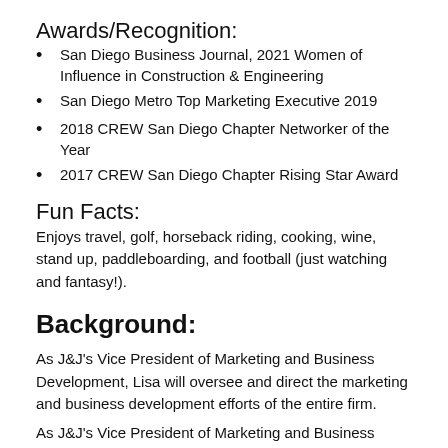Awards/Recognition:
San Diego Business Journal, 2021 Women of Influence in Construction & Engineering
San Diego Metro Top Marketing Executive 2019
2018 CREW San Diego Chapter Networker of the Year
2017 CREW San Diego Chapter Rising Star Award
Fun Facts:
Enjoys travel, golf, horseback riding, cooking, wine, stand up, paddleboarding, and football (just watching and fantasy!).
Background:
As J&J's Vice President of Marketing and Business Development, Lisa will oversee and direct the marketing and business development efforts of the entire firm.
As J&J's ...